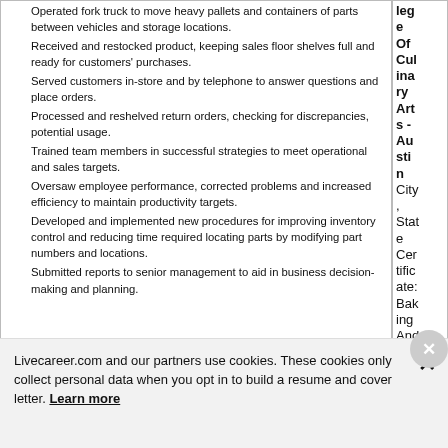Operated fork truck to move heavy pallets and containers of parts between vehicles and storage locations.
Received and restocked product, keeping sales floor shelves full and ready for customers' purchases.
Served customers in-store and by telephone to answer questions and place orders.
Processed and reshelved return orders, checking for discrepancies, potential usage.
Trained team members in successful strategies to meet operational and sales targets.
Oversaw employee performance, corrected problems and increased efficiency to maintain productivity targets.
Developed and implemented new procedures for improving inventory control and reducing time required locating parts by modifying part numbers and locations.
Submitted reports to senior management to aid in business decision-making and planning.
College Of Culinary Arts - Austin City, State Certificate: Baking And Pastry
Livecareer.com and our partners use cookies. These cookies only collect personal data when you opt in to build a resume and cover letter. Learn more